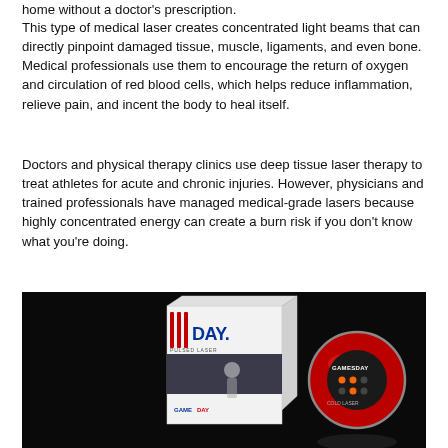home without a doctor's prescription.
This type of medical laser creates concentrated light beams that can directly pinpoint damaged tissue, muscle, ligaments, and even bone. Medical professionals use them to encourage the return of oxygen and circulation of red blood cells, which helps reduce inflammation, relieve pain, and incent the body to heal itself.
Doctors and physical therapy clinics use deep tissue laser therapy to treat athletes for acute and chronic injuries. However, physicians and trained professionals have managed medical-grade lasers because highly concentrated energy can create a burn risk if you don't know what you're doing.
[Figure (photo): Product photo on dark background showing a white retail box labeled 'GAMEDAY PULSED LASER' with an image of an athlete, alongside a round red handheld laser therapy device with the GameDay brand logo and indicator dots.]